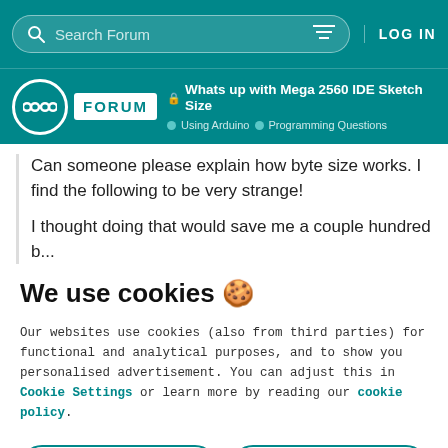Search Forum | LOG IN
FORUM | Whats up with Mega 2560 IDE Sketch Size | Using Arduino > Programming Questions
Can someone please explain how byte size works. I find the following to be very strange!
I thought doing that would save me a couple hundred b...
We use cookies 🍪
Our websites use cookies (also from third parties) for functional and analytical purposes, and to show you personalised advertisement. You can adjust this in Cookie Settings or learn more by reading our cookie policy.
ONLY REQUIRED
ACCEPT ALL